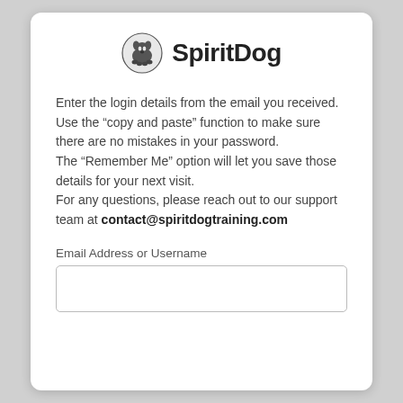[Figure (logo): SpiritDog logo: circular paw/dog icon in dark gray next to bold text 'SpiritDog']
Enter the login details from the email you received.
Use the “copy and paste” function to make sure there are no mistakes in your password.
The “Remember Me” option will let you save those details for your next visit.
For any questions, please reach out to our support team at contact@spiritdogtraining.com
Email Address or Username
[Figure (other): Empty text input field for Email Address or Username]